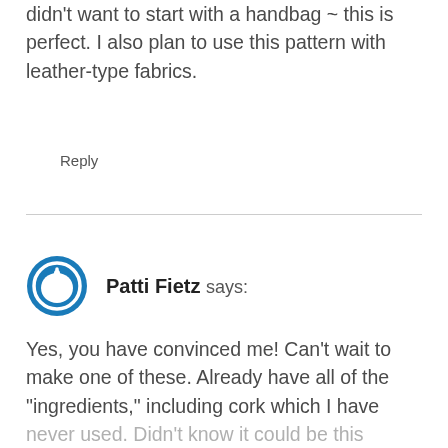didn't want to start with a handbag ~ this is perfect. I also plan to use this pattern with leather-type fabrics.
Reply
Patti Fietz says:
Yes, you have convinced me! Can't wait to make one of these. Already have all of the "ingredients," including cork which I have never used. Didn't know it could be this simple. Thanks for all the instructi...